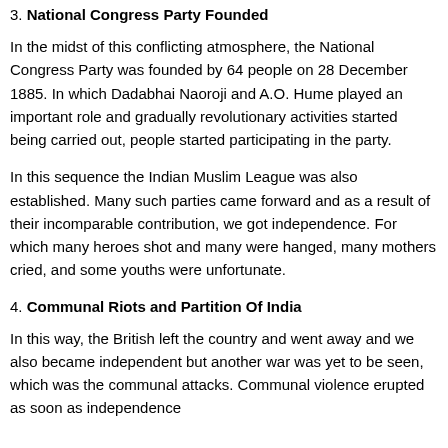3. National Congress Party Founded
In the midst of this conflicting atmosphere, the National Congress Party was founded by 64 people on 28 December 1885. In which Dadabhai Naoroji and A.O. Hume played an important role and gradually revolutionary activities started being carried out, people started participating in the party.
In this sequence the Indian Muslim League was also established. Many such parties came forward and as a result of their incomparable contribution, we got independence. For which many heroes shot and many were hanged, many mothers cried, and some youths were unfortunate.
4. Communal Riots and Partition Of India
In this way, the British left the country and went away and we also became independent but another war was yet to be seen, which was the communal attacks. Communal violence erupted as soon as independence